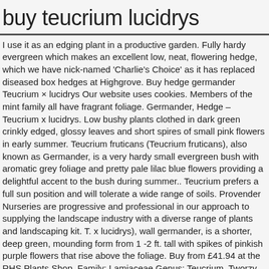buy teucrium lucidrys
I use it as an edging plant in a productive garden. Fully hardy evergreen which makes an excellent low, neat, flowering hedge, which we have nick-named 'Charlie's Choice' as it has replaced diseased box hedges at Highgrove. Buy hedge germander Teucrium × lucidrys Our website uses cookies. Members of the mint family all have fragrant foliage. Germander, Hedge – Teucrium x lucidrys. Low bushy plants clothed in dark green crinkly edged, glossy leaves and short spires of small pink flowers in early summer. Teucrium fruticans (Teucrium fruticans), also known as Germander, is a very hardy small evergreen bush with aromatic grey foliage and pretty pale lilac blue flowers providing a delightful accent to the bush during summer.. Teucrium prefers a full sun position and will tolerate a wide range of soils. Provender Nurseries are progressive and professional in our approach to supplying the landscape industry with a diverse range of plants and landscaping kit. T. x lucidrys), wall germander, is a shorter, deep green, mounding form from 1 -2 ft. tall with spikes of pinkish purple flowers that rise above the foliage. Buy from £41.94 at the RHS Plants Shop. Family: Lamiaceae Genus: Teucrium. Tworzy cienkie, wzniesione, gęsto ulistnione łodygi, z ciemnozielonymi, jajowatymi listkami. Carry on browsing if you're happy